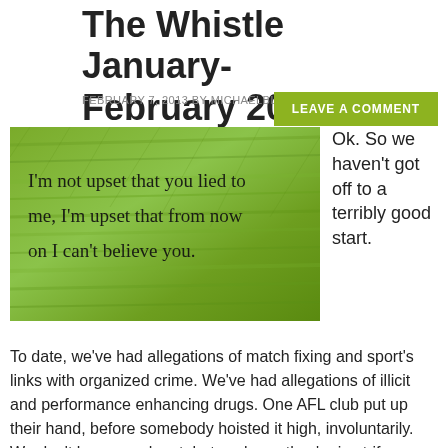The Whistle January-February 2013
FEBRUARY 7, 2013 BY MICHAELBLUCHER
LEAVE A COMMENT
[Figure (photo): Photo of grass with overlaid quote text: I'm not upset that you lied to me, I'm upset that from now on I can't believe you.]
Ok. So we haven't got off to a terribly good start.
To date, we've had allegations of match fixing and sport's links with organized crime. We've had allegations of illicit and performance enhancing drugs. One AFL club put up their hand, before somebody hoisted it high, involuntarily. We don't know much yet, but we know they're in strife.